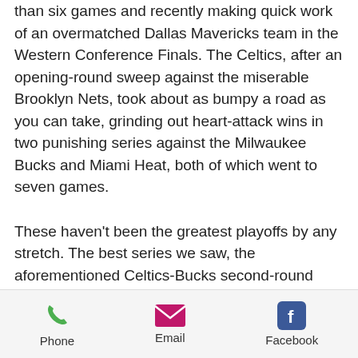than six games and recently making quick work of an overmatched Dallas Mavericks team in the Western Conference Finals. The Celtics, after an opening-round sweep against the miserable Brooklyn Nets, took about as bumpy a road as you can take, grinding out heart-attack wins in two punishing series against the Milwaukee Bucks and Miami Heat, both of which went to seven games.
These haven't been the greatest playoffs by any stretch. The best series we saw, the aforementioned Celtics-Bucks second-round epic, had its instant-classic status slightly tarnished by the fact that the Bucks were missing their second-best player, Khris Middleton. The Suns-Mavs second-round seven-gamer out West will probably be
Phone   Email   Facebook